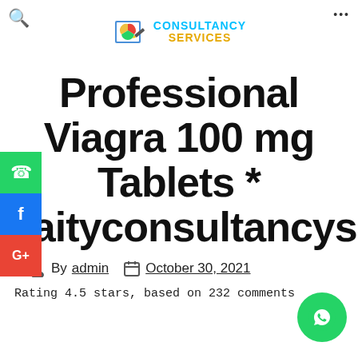CONSULTANCY SERVICES (logo with chart/book graphic)
Professional Viagra 100 mg Tablets * naityconsultancyservices.com
By admin   October 30, 2021
Rating 4.5 stars, based on 232 comments